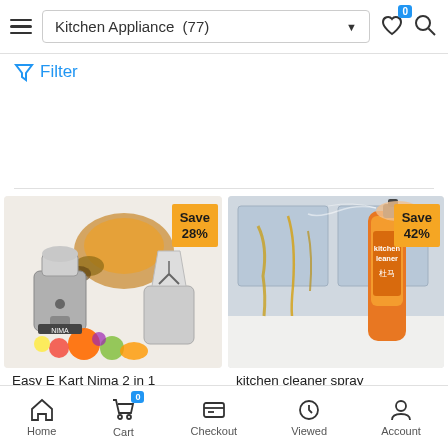Kitchen Appliance (77)
Filter
[Figure (photo): Kitchen appliance product - grinder and blender set with fruits and spices, Save 28% badge]
Easy E Kart Nima 2 in 1
[Figure (photo): Kitchen cleaner spray product in use on kitchen surface, Save 42% badge]
kitchen cleaner spray
Home  Cart  Checkout  Viewed  Account